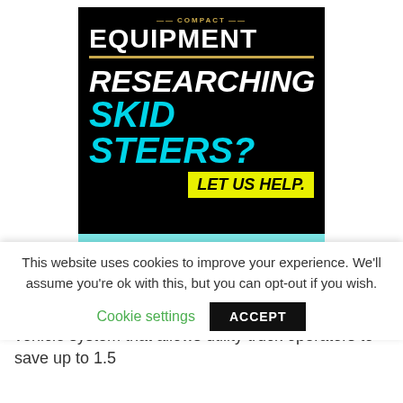[Figure (illustration): Compact Equipment magazine advertisement for skid steer research. Black background with white bold italic text 'RESEARCHING' and cyan text 'SKID STEERS?' with a yellow banner 'LET US HELP.' Below is a cyan section with italic bold text 'Tips to buy or rent your next skid steer: click here.']
The HyPower Hybrid is a plug-in hybrid electric vehicle system that allows utility truck operators to save up to 1.5
This website uses cookies to improve your experience. We'll assume you're ok with this, but you can opt-out if you wish.
Cookie settings
ACCEPT